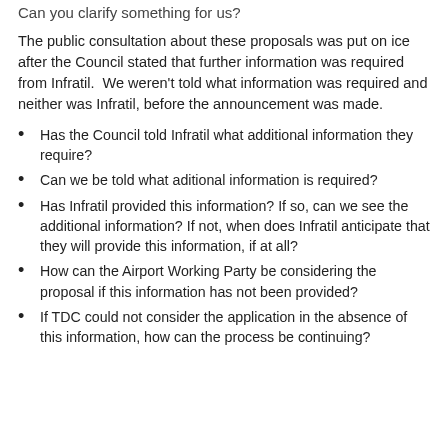Can you clarify something for us?
The public consultation about these proposals was put on ice after the Council stated that further information was required from Infratil.  We weren't told what information was required and neither was Infratil, before the announcement was made.
Has the Council told Infratil what additional information they require?
Can we be told what aditional information is required?
Has Infratil provided this information? If so, can we see the additional information? If not, when does Infratil anticipate that they will provide this information, if at all?
How can the Airport Working Party be considering the proposal if this information has not been provided?
If TDC could not consider the application in the absence of this information, how can the process be continuing?